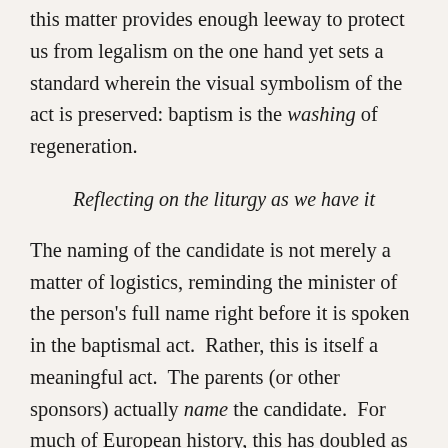this matter provides enough leeway to protect us from legalism on the one hand yet sets a standard wherein the visual symbolism of the act is preserved: baptism is the washing of regeneration.
Reflecting on the liturgy as we have it
The naming of the candidate is not merely a matter of logistics, reminding the minister of the person's full name right before it is spoken in the baptismal act. Rather, this is itself a meaningful act. The parents (or other sponsors) actually name the candidate. For much of European history, this has doubled as a legally-binding moment when a child receive his or her name and is recorded in the